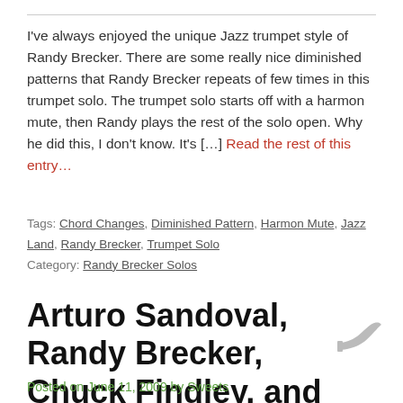I've always enjoyed the unique Jazz trumpet style of Randy Brecker. There are some really nice diminished patterns that Randy Brecker repeats of few times in this trumpet solo. The trumpet solo starts off with a harmon mute, then Randy plays the rest of the solo open. Why he did this, I don't know. It's […] Read the rest of this entry…
Tags: Chord Changes, Diminished Pattern, Harmon Mute, Jazz Land, Randy Brecker, Trumpet Solo
Category: Randy Brecker Solos
Arturo Sandoval, Randy Brecker, Chuck Findley, and Byron Stripling on Cherokee
Posted on June 11, 2009 by Sweets